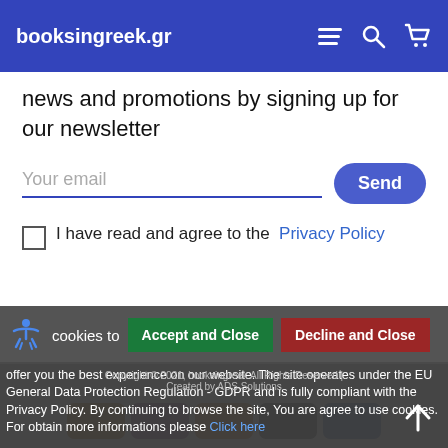booksingreek.gr
news and promotions by signing up for our newsletter
Your email
Send
I have read and agree to the Privacy Policy
cookies to  Accept and Close  Decline and Close
offer you the best experience on our website. The site operates under the EU General Data Protection Regulation - GDPR and is fully compliant with the Privacy Policy. By continuing to browse the site, You are agree to use cookies.
For obtain more informations please Click here
Copyright © 2021, booksingreek All Rights Reserved | Created by ADS Solutions